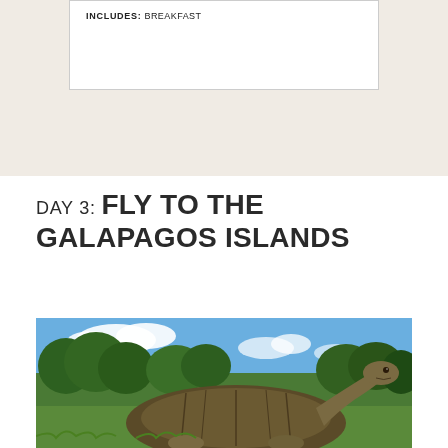INCLUDES: BREAKFAST
DAY 3: FLY TO THE GALAPAGOS ISLANDS
[Figure (photo): A Galapagos giant tortoise with head raised, photographed against a blue sky with green vegetation in the background]